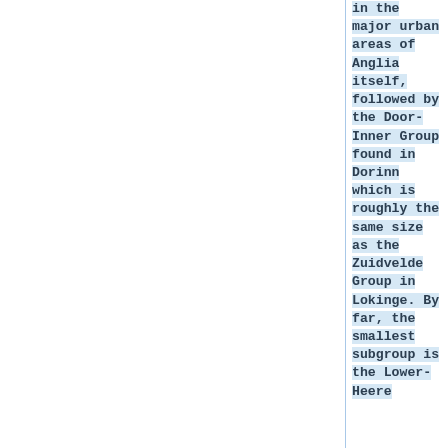in the major urban areas of Anglia itself, followed by the Door-Inner Group found in Dorinn which is roughly the same size as the Zuidvelde Group in Lokinge. By far, the smallest subgroup is the Lower-Heere